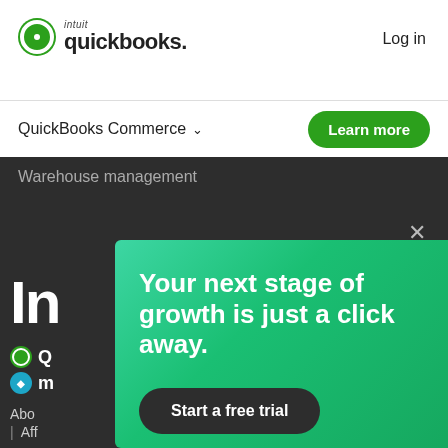intuit quickbooks. Log in
QuickBooks Commerce ⌄
Learn more
Warehouse management
×
Your next stage of growth is just a click away.
Start a free trial